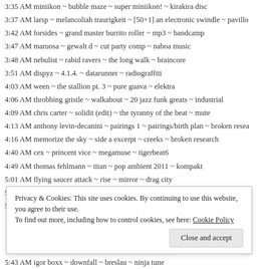3:35 AM miniikon ~ bubble maze ~ super miniikon! ~ kirakira disc
3:37 AM larsp ~ melancoliah traurigkeit ~ [50+1] an electronic swindle ~ pavillo
3:42 AM forsides ~ grand master burrito roller ~ mp3 ~ bandcamp
3:47 AM maruosa ~ gewalt d ~ cut party comp ~ naboa music
3:48 AM nebulist ~ rabid ravers ~ the long walk ~ braincore
3:51 AM dispyz ~ 4.1.4. ~ datarunner ~ radiograffiti
4:03 AM ween ~ the stallion pt. 3 ~ pure guava ~ elektra
4:06 AM throbbing gristle ~ walkabout ~ 20 jazz funk greats ~ industrial
4:09 AM chris carter ~ solidit (edit) ~ the tyranny of the beat ~ mute
4:13 AM anthony levin-decanini ~ pairings 1 ~ pairings/birth plan ~ broken resea
4:16 AM memorize the sky ~ side a excerpt ~ creeks ~ broken research
4:40 AM cex ~ princent vice ~ megamuse ~ tigerbeat6
4:49 AM thomas fehlmann ~ titan ~ pop ambient 2011 ~ kompakt
5:01 AM flying saucer attack ~ rise ~ mirror ~ drag city
5:07 AM ebn e sync ~ drunken monkey ~ ebn e sync ~ wordsound
5:14 AM squarepusher ~ sarcadic part 1 ~ burningn'n tree ~ spymania/warp
Privacy & Cookies: This site uses cookies. By continuing to use this website, you agree to their use.
To find out more, including how to control cookies, see here: Cookie Policy
5:43 AM igor boxx ~ downfall ~ breslau ~ ninja tune